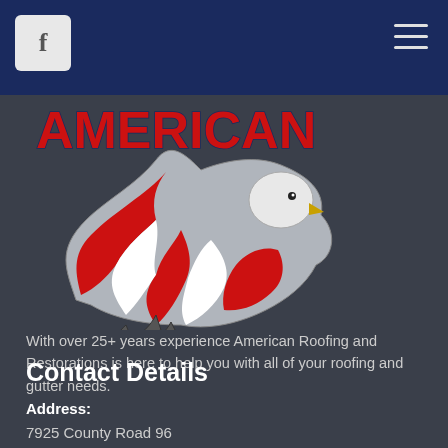[Figure (logo): American Roofing and Restorations logo — bold red text 'AMERICAN' above a patriotic eagle silhouette with American flag pattern (red stripes, white, blue), and bold blue text 'ROOFING AND RESTORATIONS' below]
With over 25+ years experience American Roofing and Restorations is here to help you with all of your roofing and gutter needs.
Contact Details
Address:
7925 County Road 96